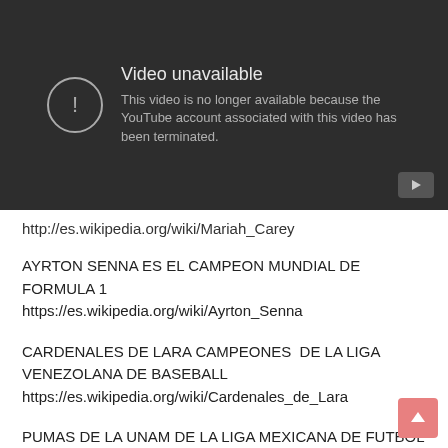[Figure (screenshot): YouTube embedded video player showing 'Video unavailable' error message. Dark grey background with an alert circle icon and text: 'Video unavailable. This video is no longer available because the YouTube account associated with this video has been terminated.' A YouTube play button icon appears in the bottom right corner.]
http://es.wikipedia.org/wiki/Mariah_Carey
AYRTON SENNA ES EL CAMPEON MUNDIAL DE FORMULA 1
https://es.wikipedia.org/wiki/Ayrton_Senna
CARDENALES DE LARA CAMPEONES DE LA LIGA VENEZOLANA DE BASEBALL
https://es.wikipedia.org/wiki/Cardenales_de_Lara
PUMAS DE LA UNAM DE LA LIGA MEXICANA DE FUTBOL